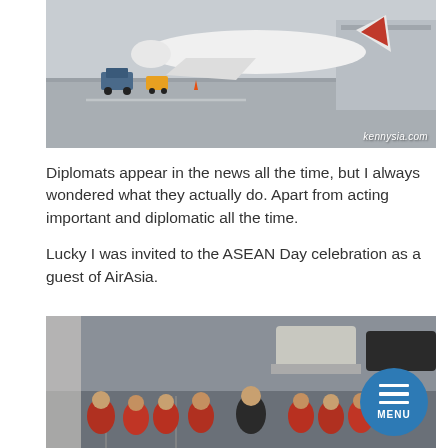[Figure (photo): AirAsia airplane on airport tarmac with ground vehicles. Watermark 'kennysia.com' in bottom right.]
Diplomats appear in the news all the time, but I always wondered what they actually do. Apart from acting important and diplomatic all the time.
Lucky I was invited to the ASEAN Day celebration as a guest of AirAsia.
[Figure (photo): Group photo of AirAsia staff in red uniforms with a man in black jacket, in a parking area. Blue circular MENU button overlay in bottom right.]